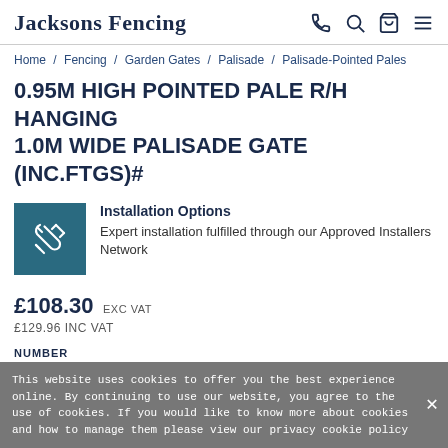Jacksons Fencing
Home / Fencing / Garden Gates / Palisade / Palisade-Pointed Pales
0.95M HIGH POINTED PALE R/H HANGING 1.0M WIDE PALISADE GATE (INC.FTGS)#
[Figure (illustration): Teal square icon with wrench and spanner tools crossed]
Installation Options
Expert installation fulfilled through our Approved Installers Network
£108.30 EXC VAT
£129.96 INC VAT
NUMBER
1  ADD TO BASKET
This website uses cookies to offer you the best experience online. By continuing to use our website, you agree to the use of cookies. If you would like to know more about cookies and how to manage them please view our privacy cookie policy